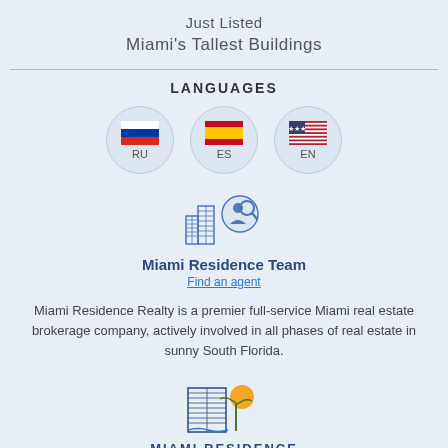Just Listed
Miami's Tallest Buildings
LANGUAGES
[Figure (illustration): Three circular flag icons for RU (Russia), ES (Spain), EN (USA) languages]
[Figure (logo): Miami Residence Team icon showing buildings and agent with magnifying glass]
Miami Residence Team
Find an agent
Miami Residence Realty is a premier full-service Miami real estate brokerage company, actively involved in all phases of real estate in sunny South Florida.
[Figure (logo): Miami Residence logo with building, palm tree, and sun]
MIAMI RESIDENCE